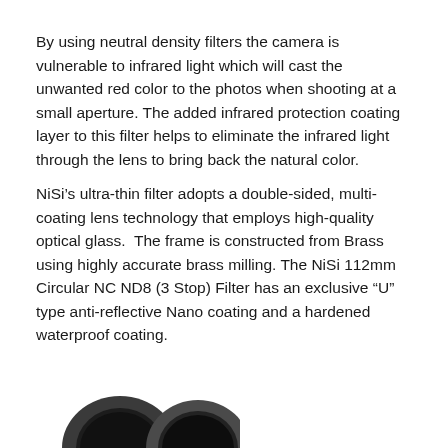By using neutral density filters the camera is vulnerable to infrared light which will cast the unwanted red color to the photos when shooting at a small aperture. The added infrared protection coating layer to this filter helps to eliminate the infrared light through the lens to bring back the natural color.
NiSi's ultra-thin filter adopts a double-sided, multi-coating lens technology that employs high-quality optical glass.  The frame is constructed from Brass using highly accurate brass milling. The NiSi 112mm Circular NC ND8 (3 Stop) Filter has an exclusive “U” type anti-reflective Nano coating and a hardened waterproof coating.
[Figure (photo): Partial view of two NiSi circular ND filters at the bottom of the page, showing their dark glass and metal frame edges.]